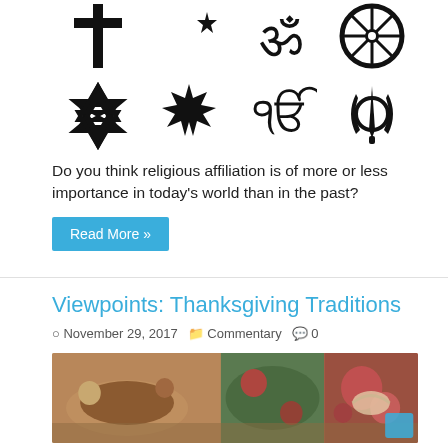[Figure (illustration): Eight religious symbols arranged in two rows: Christian cross, Islamic crescent and star, Hindu Om, Buddhist Dharma wheel (top row); Star of David, Bahá'í star, Ek Onkar, Sikh Khanda (bottom row)]
Do you think religious affiliation is of more or less importance in today's world than in the past?
Read More »
Viewpoints: Thanksgiving Traditions
November 29, 2017   Commentary   0
[Figure (photo): Photo of Thanksgiving food spread including roasted turkey, side dishes, cranberry sauce, and pomegranate on a wooden table]